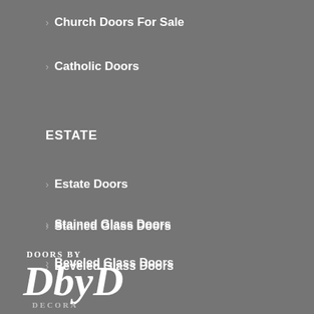Church Doors For Sale
Catholic Doors
ESTATE
Estate Doors
Stained Glass Doors
Beveled Glass Doors
Leaded Glass Doors
Glass Front Doors
[Figure (logo): Doors by DbD Decora logo with stylized script lettering]